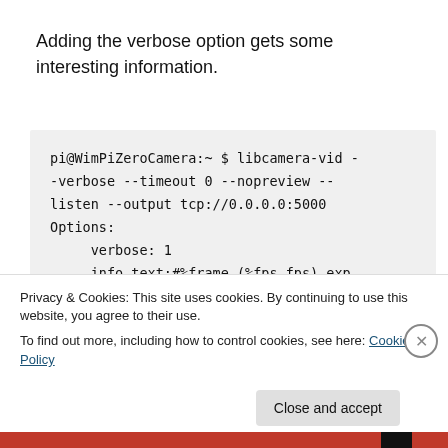Adding the verbose option gets some interesting information.
pi@WimPiZeroCamera:~ $ libcamera-vid --verbose --timeout 0 --nopreview --listen --output tcp://0.0.0.0:5000
Options:
      verbose: 1
      info_text:#%frame (%fps fps) exp %exp ag %ag dg %dg
      timeout: 0
      width: 640
Privacy & Cookies: This site uses cookies. By continuing to use this website, you agree to their use.
To find out more, including how to control cookies, see here: Cookie Policy
Close and accept